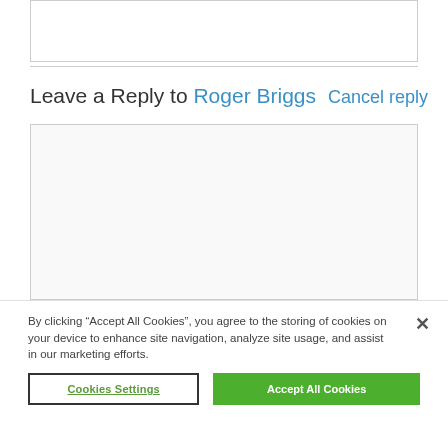[Figure (screenshot): Top text input box (partially visible, cropped)]
Leave a Reply to Roger Briggs  Cancel reply
[Figure (screenshot): Large comment textarea input box]
By clicking “Accept All Cookies”, you agree to the storing of cookies on your device to enhance site navigation, analyze site usage, and assist in our marketing efforts.
Cookies Settings  Accept All Cookies